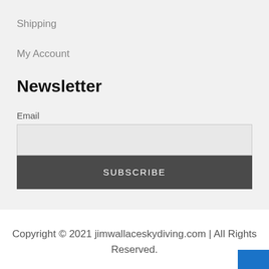Shipping
My Account
Newsletter
Email
SUBSCRIBE
Copyright © 2021 jimwallaceskydiving.com | All Rights Reserved.